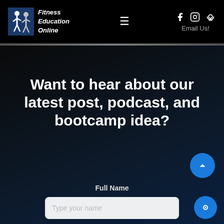[Figure (logo): Fitness Education Online logo with two figures and italic bold text]
Fitness Education Online — navigation header with hamburger menu, Facebook, Instagram, Podcast social icons, and Email Us! link
Want to hear about our latest post, podcast, and bootcamp idea?
Full Name
Type your name